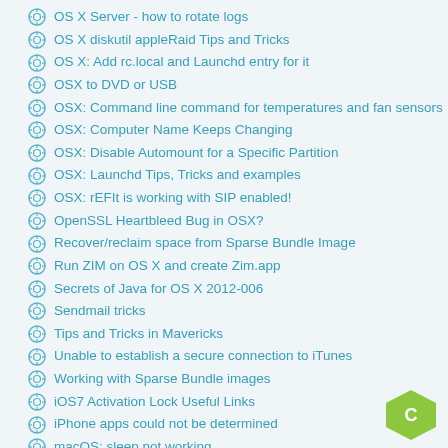OS X Server - how to rotate logs
OS X diskutil appleRaid Tips and Tricks
OS X: Add rc.local and Launchd entry for it
OSX to DVD or USB
OSX: Command line command for temperatures and fan sensors
OSX: Computer Name Keeps Changing
OSX: Disable Automount for a Specific Partition
OSX: Launchd Tips, Tricks and examples
OSX: rEFIt is working with SIP enabled!
OpenSSL Heartbleed Bug in OSX?
Recover/reclaim space from Sparse Bundle Image
Run ZIM on OS X and create Zim.app
Secrets of Java for OS X 2012-006
Sendmail tricks
Tips and Tricks in Mavericks
Unable to establish a secure connection to iTunes
Working with Sparse Bundle images
iOS7 Activation Lock Useful Links
iPhone apps could not be determined
macOS: sleep not working
tmutil: command line interface into Time Machine
iOS